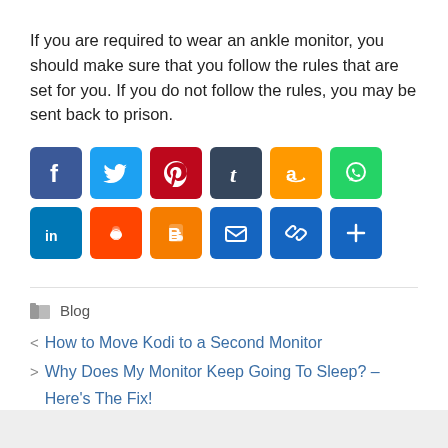If you are required to wear an ankle monitor, you should make sure that you follow the rules that are set for you. If you do not follow the rules, you may be sent back to prison.
[Figure (infographic): Row of social media share buttons: Facebook, Twitter, Pinterest, Tumblr, Amazon, WhatsApp, LinkedIn, Reddit, Blogger, Email, Copy Link, More]
Blog
< How to Move Kodi to a Second Monitor
> Why Does My Monitor Keep Going To Sleep? – Here’s The Fix!